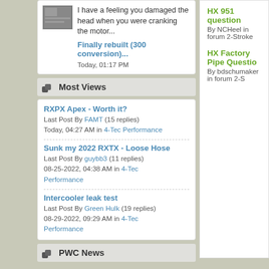I have a feeling you damaged the head when you were cranking the motor...
Finally rebuilt (300 conversion)...
Today, 01:17 PM
Most Views
RXPX Apex - Worth it?
Last Post By FAMT (15 replies)
Today, 04:27 AM in 4-Tec Performance
Sunk my 2022 RXTX - Loose Hose
Last Post By guybb3 (11 replies)
08-25-2022, 04:38 AM in 4-Tec Performance
Intercooler leak test
Last Post By Green Hulk (19 replies)
08-29-2022, 09:29 AM in 4-Tec Performance
PWC News
HX 951 question
By NCHeel in forum 2-Stroke
HX Factory Pipe Questio...
By bdschumaker in forum 2-S...